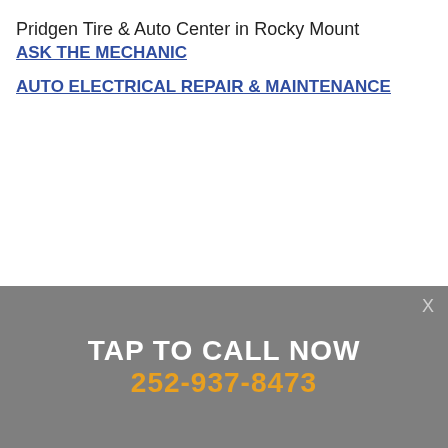Pridgen Tire & Auto Center in Rocky Mount
ASK THE MECHANIC
AUTO ELECTRICAL REPAIR & MAINTENANCE
TAP TO CALL NOW
252-937-8473